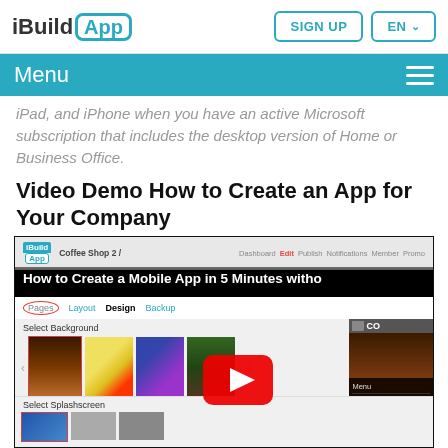iBuildApp | SIGN UP | EN
Menu
iPad, and iPhone when you have an active Microsoft subscription that includes the desktop version of Home or Business Office.
Video Demo How to Create an App for Your Company
[Figure (screenshot): YouTube video thumbnail showing iBuildApp interface with 'How to Create a Mobile App in 5 Minutes without...' title, showing background selection screen with coffee and other images, and a YouTube play button overlay. Below shows 'Select Splashscreen' section.]